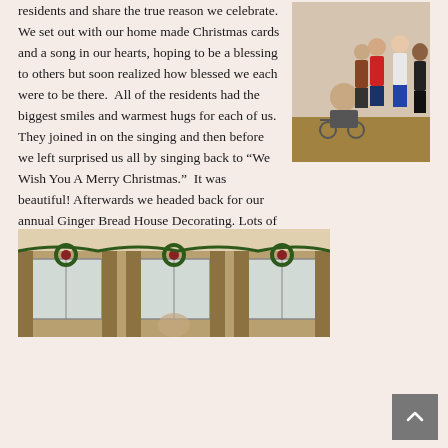residents and share the true reason we celebrate. We set out with our home made Christmas cards and a song in our hearts, hoping to be a blessing to others but soon realized how blessed we each were to be there. All of the residents had the biggest smiles and warmest hugs for each of us. They joined in on the singing and then before we left surprised us all by singing back to “We Wish You A Merry Christmas.” It was beautiful! Afterwards we headed back for our annual Ginger Bread House Decorating. Lots of activities coming up. Check the calendar or give us a call to join in the fun as we learn more about The Word together and also have some sweet time of fellowship. Youth Group meets for Bible Study on Sunday mornings at 9:30.
[Figure (photo): Photo of people standing around an elderly person in a wheelchair in an indoor hallway setting.]
[Figure (photo): Photo of an indoor room decorated with Christmas wreaths on curtained windows.]